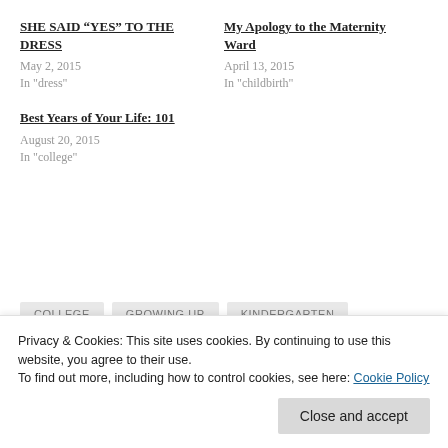SHE SAID “YES” TO THE DRESS
May 2, 2015
In "dress"
My Apology to the Maternity Ward
April 13, 2015
In "childbirth"
Best Years of Your Life: 101
August 20, 2015
In "college"
COLLEGE
GROWING UP
KINDERGARTEN
Privacy & Cookies: This site uses cookies. By continuing to use this website, you agree to their use.
To find out more, including how to control cookies, see here: Cookie Policy